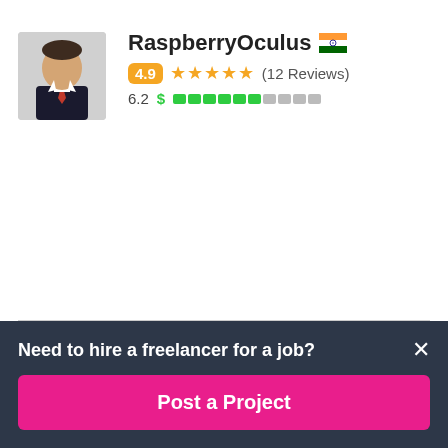RaspberryOculus 🇮🇳
4.9 ★★★★★ (12 Reviews)
6.2 $ [score bar]
amelectronics 🇵🇰
$400 CAD in 15 days
4.6 ★★★★★ (19 Reviews)
6.2 $ [score bar]
Need to hire a freelancer for a job?
Post a Project